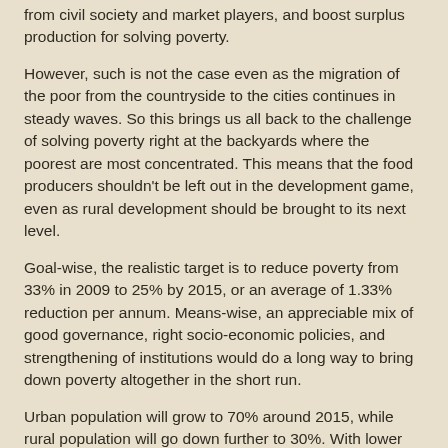from civil society and market players, and boost surplus production for solving poverty.
However, such is not the case even as the migration of the poor from the countryside to the cities continues in steady waves. So this brings us all back to the challenge of solving poverty right at the backyards where the poorest are most concentrated. This means that the food producers shouldn't be left out in the development game, even as rural development should be brought to its next level.
Goal-wise, the realistic target is to reduce poverty from 33% in 2009 to 25% by 2015, or an average of 1.33% reduction per annum. Means-wise, an appreciable mix of good governance, right socio-economic policies, and strengthening of institutions would do a long way to bring down poverty altogether in the short run.
Urban population will grow to 70% around 2015, while rural population will go down further to 30%. With lower rural populations to manage by then, there is no more reason for government not to be able to do something to solve poverty. And we say government, because the increase in poverty